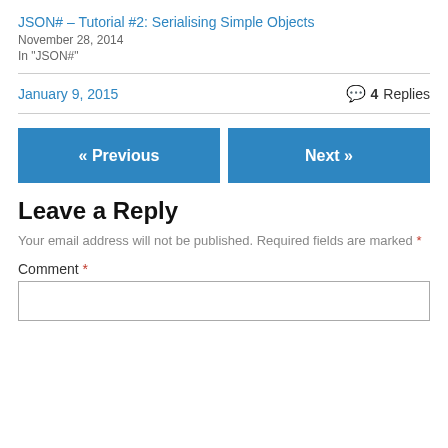JSON# – Tutorial #2: Serialising Simple Objects
November 28, 2014
In "JSON#"
January 9, 2015
4 Replies
« Previous
Next »
Leave a Reply
Your email address will not be published. Required fields are marked *
Comment *